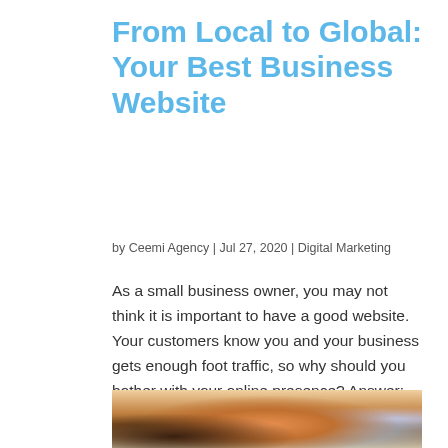From Local to Global: Your Best Business Website
by Ceemi Agency | Jul 27, 2020 | Digital Marketing
As a small business owner, you may not think it is important to have a good website. Your customers know you and your business gets enough foot traffic, so why should you bother with your online presence? Answer: Neglecting your business’s digital footprint is a huge…
[Figure (photo): Photo of a person working in a cafe or bright indoor space with large windows, warm backlit scene with flowers visible on a table.]